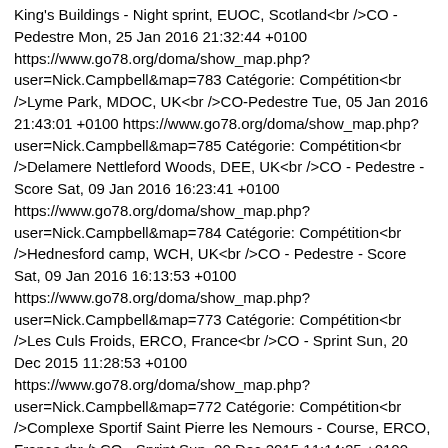King's Buildings - Night sprint, EUOC, Scotland<br />CO - Pedestre Mon, 25 Jan 2016 21:32:44 +0100 https://www.go78.org/doma/show_map.php?user=Nick.Campbell&map=783 Catégorie: Compétition<br />Lyme Park, MDOC, UK<br />CO-Pedestre Tue, 05 Jan 2016 21:43:01 +0100 https://www.go78.org/doma/show_map.php?user=Nick.Campbell&map=785 Catégorie: Compétition<br />Delamere Nettleford Woods, DEE, UK<br />CO - Pedestre - Score Sat, 09 Jan 2016 16:23:41 +0100 https://www.go78.org/doma/show_map.php?user=Nick.Campbell&map=784 Catégorie: Compétition<br />Hednesford camp, WCH, UK<br />CO - Pedestre - Score Sat, 09 Jan 2016 16:13:53 +0100 https://www.go78.org/doma/show_map.php?user=Nick.Campbell&map=773 Catégorie: Compétition<br />Les Culs Froids, ERCO, France<br />CO - Sprint Sun, 20 Dec 2015 11:28:53 +0100 https://www.go78.org/doma/show_map.php?user=Nick.Campbell&map=772 Catégorie: Compétition<br />Complexe Sportif Saint Pierre les Nemours - Course, ERCO, France<br />CO - Sprint Sun, 20 Dec 2015 11:14:25 +0100 https://www.go78.org/doma/show_map.php?user=Nick.Campbell&map=760 Catégorie: Compétition<br />Rocher des Demoiselles, US Mélun, France<br />CO - Pedestre Sun, 29 Nov 2015 16:01:27 +0100 https://www.go78.org/doma/show_map.php?